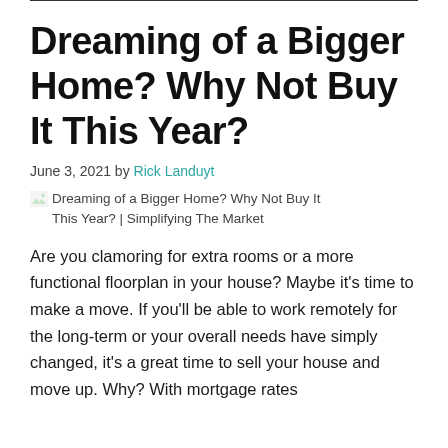Dreaming of a Bigger Home? Why Not Buy It This Year?
June 3, 2021 by Rick Landuyt
[Figure (illustration): Broken image placeholder for article image with alt text: Dreaming of a Bigger Home? Why Not Buy It This Year? | Simplifying The Market]
Are you clamoring for extra rooms or a more functional floorplan in your house? Maybe it's time to make a move. If you'll be able to work remotely for the long-term or your overall needs have simply changed, it's a great time to sell your house and move up. Why? With mortgage rates